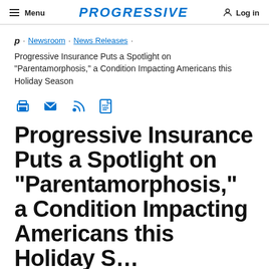Menu | PROGRESSIVE | Log in
P · Newsroom · News Releases ·
Progressive Insurance Puts a Spotlight on "Parentamorphosis," a Condition Impacting Americans this Holiday Season
[Figure (other): Share icons: print, email, RSS feed, PDF]
Progressive Insurance Puts a Spotlight on "Parentamorphosis," a Condition Impacting Americans this Holiday Season